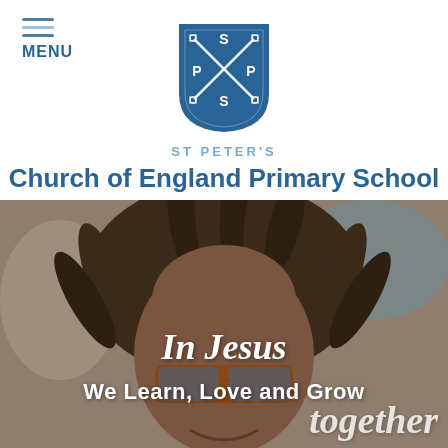MENU
[Figure (logo): St Peter's Primary School shield logo with crossed keys and letters S, P, P, S in a blue shield]
ST PETER'S
Church of England Primary School
[Figure (photo): Close-up photo of a smiling young girl with braided hair and glasses, in a school environment]
In Jesus
We Learn, Love and Grow
together